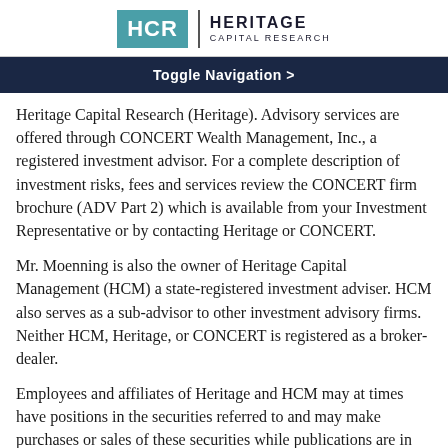[Figure (logo): Heritage Capital Research logo with teal HCR box and text]
Toggle Navigation >
Heritage Capital Research (Heritage). Advisory services are offered through CONCERT Wealth Management, Inc., a registered investment advisor. For a complete description of investment risks, fees and services review the CONCERT firm brochure (ADV Part 2) which is available from your Investment Representative or by contacting Heritage or CONCERT.
Mr. Moenning is also the owner of Heritage Capital Management (HCM) a state-registered investment adviser. HCM also serves as a sub-advisor to other investment advisory firms. Neither HCM, Heritage, or CONCERT is registered as a broker-dealer.
Employees and affiliates of Heritage and HCM may at times have positions in the securities referred to and may make purchases or sales of these securities while publications are in circulation. Editors will indicate whether they or Heritage/HCM has a position in stocks or other securities mentioned in any